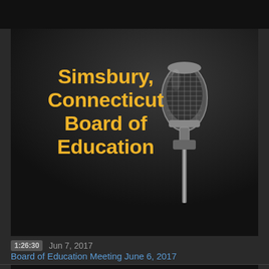[Figure (screenshot): Video thumbnail showing a studio microphone on dark background with gold text reading 'Simsbury, Connecticut Board of Education']
Simsbury, Connecticut Board of Education
1:26:30   Jun 7, 2017
Board of Education Meeting June 6, 2017
[Figure (screenshot): Black video thumbnail strip at bottom of page]